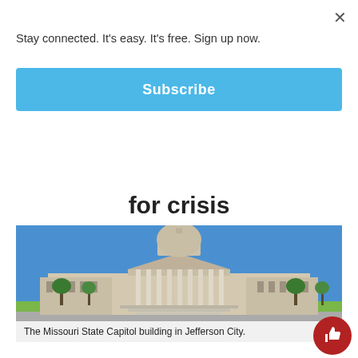Stay connected. It's easy. It's free. Sign up now.
Subscribe
for crisis
[Figure (photo): The Missouri State Capitol building in Jefferson City, with a large dome, classical columns, and blue sky background.]
The Missouri State Capitol building in Jefferson City.